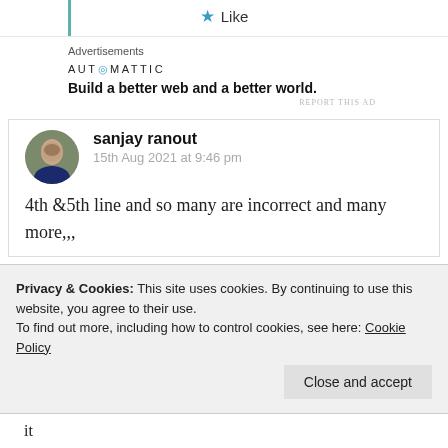[Figure (other): Like button with blue star icon at top of page]
Advertisements
[Figure (logo): AUTOMATTIC logo with circular dot replacing O]
Build a better web and a better world.
REPORT THIS AD
sanjay ranout
15th Aug 2021 at 9:46 pm
4th &5th line and so many are incorrect and many more,,,
Privacy & Cookies: This site uses cookies. By continuing to use this website, you agree to their use.
To find out more, including how to control cookies, see here: Cookie Policy
Close and accept
it